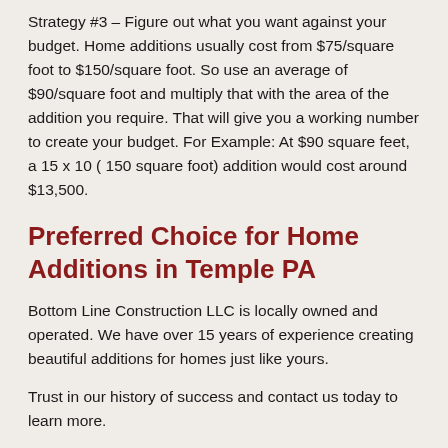Strategy #3 – Figure out what you want against your budget. Home additions usually cost from $75/square foot to $150/square foot. So use an average of $90/square foot and multiply that with the area of the addition you require. That will give you a working number to create your budget. For Example: At $90 square feet, a 15 x 10 ( 150 square foot) addition would cost around $13,500.
Preferred Choice for Home Additions in Temple PA
Bottom Line Construction LLC is locally owned and operated. We have over 15 years of experience creating beautiful additions for homes just like yours.
Trust in our history of success and contact us today to learn more.
Additions you'll love: